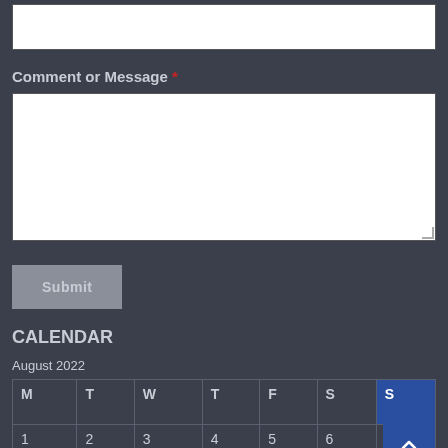[Figure (screenshot): Text input box (empty, white background)]
Comment or Message *
[Figure (screenshot): Textarea input box (empty, white background, resizable)]
[Figure (screenshot): Submit button]
CALENDAR
August 2022
| M | T | W | T | F | S | S |
| --- | --- | --- | --- | --- | --- | --- |
| 1 | 2 | 3 | 4 | 5 | 6 |  |
|  |  |  |  |  |  |  |